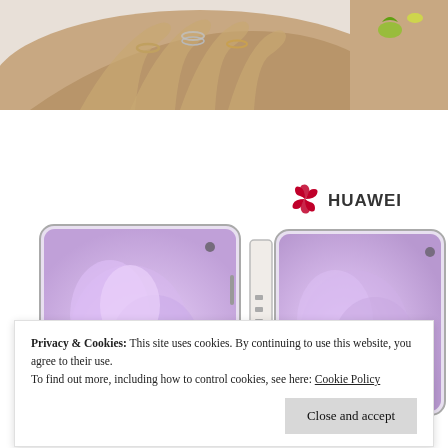[Figure (photo): Hands with rings and jewelry on a light grey background, with an arm showing decorative stickers on the right]
[Figure (logo): Huawei logo: red flower/leaf symbol and HUAWEI text in dark grey]
[Figure (photo): Multiple Huawei foldable smartphones displayed at various angles showing purple/lavender screen wallpapers]
Privacy & Cookies: This site uses cookies. By continuing to use this website, you agree to their use.
To find out more, including how to control cookies, see here: Cookie Policy
Close and accept